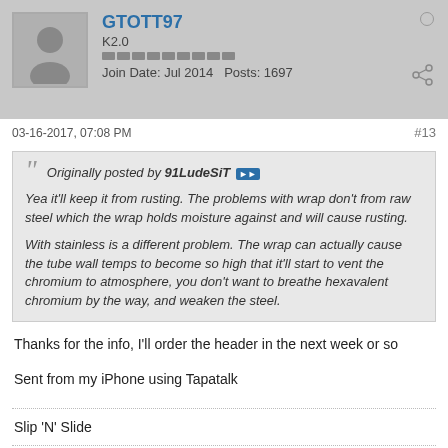GTOTT97 | K2.0 | Join Date: Jul 2014  Posts: 1697
03-16-2017, 07:08 PM  #13
Originally posted by 91LudeSiT
Yea it'll keep it from rusting. The problems with wrap don't from raw steel which the wrap holds moisture against and will cause rusting.

With stainless is a different problem. The wrap can actually cause the tube wall temps to become so high that it'll start to vent the chromium to atmosphere, you don't want to breathe hexavalent chromium by the way, and weaken the steel.
Thanks for the info, I'll order the header in the next week or so
Sent from my iPhone using Tapatalk
Slip 'N' Slide